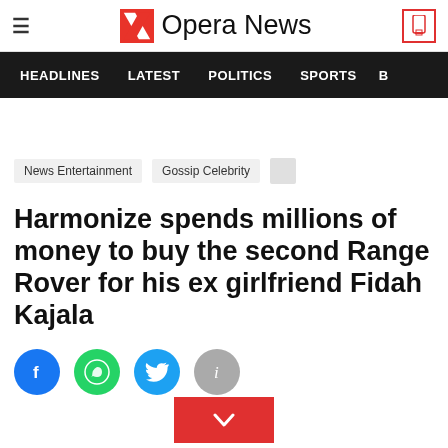Opera News
HEADLINES   LATEST   POLITICS   SPORTS
News Entertainment   Gossip Celebrity
Harmonize spends millions of money to buy the second Range Rover for his ex girlfriend Fidah Kajala
[Figure (other): Social share icons row: Facebook, WhatsApp, Twitter, Info; and a red expand/down button]